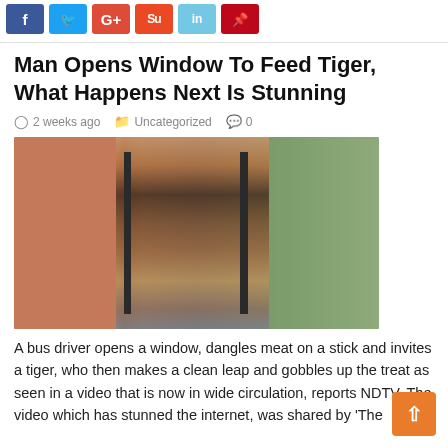[Figure (other): Row of social media share buttons: Facebook (blue), Twitter (light blue), Google+ (red), StumbleUpon (orange-red), LinkedIn (light blue), Pinterest (red)]
Man Opens Window To Feed Tiger, What Happens Next Is Stunning
2 weeks ago   Uncategorized   0
[Figure (photo): A bus driver opens a window to feed a tiger. The tiger is seen leaping up with its head near the window, with a person's hand visible. Background shows green foliage through the window.]
A bus driver opens a window, dangles meat on a stick and invites a tiger, who then makes a clean leap and gobbles up the treat as seen in a video that is now in wide circulation, reports NDTV. The video which has stunned the internet, was shared by 'The